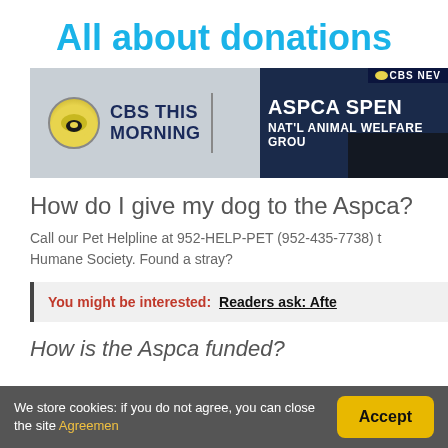All about donations
[Figure (screenshot): CBS This Morning TV screenshot showing text 'ASPCA SPEN' and 'NAT'L ANIMAL WELFARE GROU' with CBS News banner at top right]
How do I give my dog to the Aspca?
Call our Pet Helpline at 952-HELP-PET (952-435-7738) t... Humane Society. Found a stray?
You might be interested: Readers ask: Afte
How is the Aspca funded?
We store cookies: if you do not agree, you can close the site Agreemen